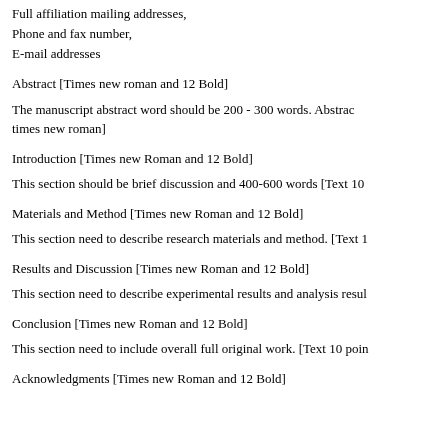Full affiliation mailing addresses,
Phone and fax number,
E-mail addresses
Abstract [Times new roman and 12 Bold]
The manuscript abstract word should be 200 - 300 words. Abstract [times new roman]
Introduction [Times new Roman and 12 Bold]
This section should be brief discussion and 400-600 words [Text 10
Materials and Method [Times new Roman and 12 Bold]
This section need to describe research materials and method. [Text 1
Results and Discussion [Times new Roman and 12 Bold]
This section need to describe experimental results and analysis resul
Conclusion [Times new Roman and 12 Bold]
This section need to include overall full original work. [Text 10 poin
Acknowledgments [Times new Roman and 12 Bold]